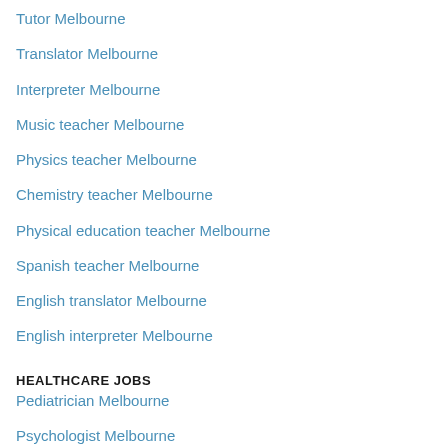Tutor Melbourne
Translator Melbourne
Interpreter Melbourne
Music teacher Melbourne
Physics teacher Melbourne
Chemistry teacher Melbourne
Physical education teacher Melbourne
Spanish teacher Melbourne
English translator Melbourne
English interpreter Melbourne
HEALTHCARE JOBS
Pediatrician Melbourne
Psychologist Melbourne
Ophthalmologist Melbourne